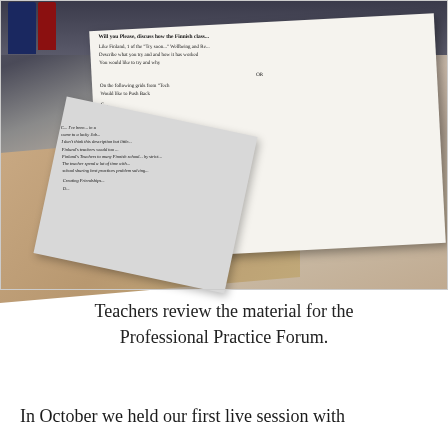[Figure (photo): A photograph of printed teaching materials laid on a desk with books. The pages contain text about Finnish classrooms, professional practice forums, and discussion questions for teachers.]
Teachers review the material for the Professional Practice Forum.
In October we held our first live session with